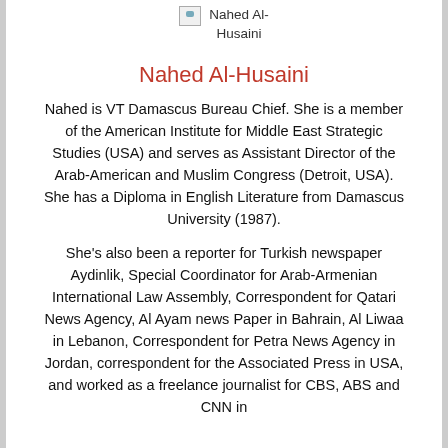[Figure (photo): Small broken/placeholder image icon for Nahed Al-Husaini profile photo]
Nahed Al-Husaini
Nahed is VT Damascus Bureau Chief. She is a member of the American Institute for Middle East Strategic Studies (USA) and serves as Assistant Director of the Arab-American and Muslim Congress (Detroit, USA). She has a Diploma in English Literature from Damascus University (1987).
She's also been a reporter for Turkish newspaper Aydinlik, Special Coordinator for Arab-Armenian International Law Assembly, Correspondent for Qatari News Agency, Al Ayam news Paper in Bahrain, Al Liwaa in Lebanon, Correspondent for Petra News Agency in Jordan, correspondent for the Associated Press in USA, and worked as a freelance journalist for CBS, ABS and CNN in